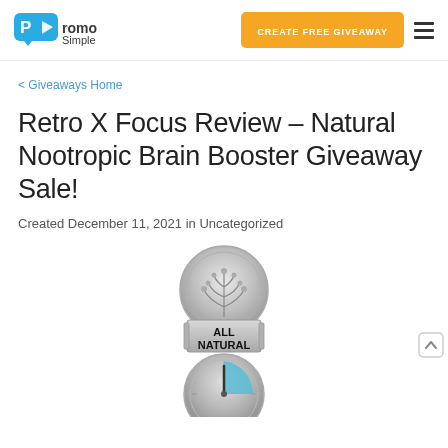PromoSimple | CREATE FREE GIVEAWAY
< Giveaways Home
Retro X Focus Review – Natural Nootropic Brain Booster Giveaway Sale!
Created December 11, 2021 in Uncategorized
[Figure (illustration): Two badge icons stacked vertically: top badge is a silver circular medallion with a plant/tree motif and a rectangular banner reading 'ALL NATURAL'; bottom badge is a silver clock/gauge with a teal indicator and a rectangular banner reading 'EFFECTIVE' (partially visible).]